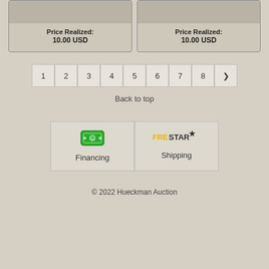Price Realized: 10.00 USD
Price Realized: 10.00 USD
1
2
3
4
5
6
7
8
❯
Back to top
[Figure (other): Financing service card with dollar bill icon and 'Financing' label]
[Figure (other): Shipping service card with FreeStar logo and 'Shipping' label]
© 2022 Hueckman Auction